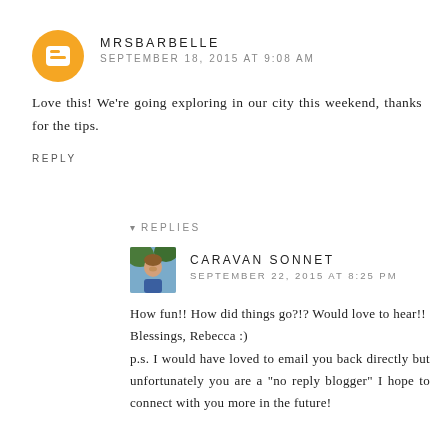MRSBARBELLE
SEPTEMBER 18, 2015 AT 9:08 AM
Love this! We're going exploring in our city this weekend, thanks for the tips.
REPLY
REPLIES
[Figure (photo): Profile photo of Caravan Sonnet - a woman smiling outdoors]
CARAVAN SONNET
SEPTEMBER 22, 2015 AT 8:25 PM
How fun!! How did things go?!? Would love to hear!!
Blessings, Rebecca :)
p.s. I would have loved to email you back directly but unfortunately you are a "no reply blogger" I hope to connect with you more in the future!